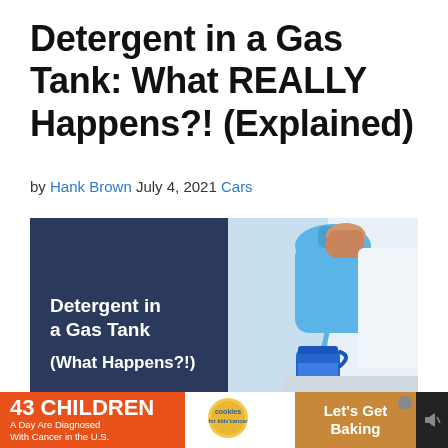Detergent in a Gas Tank: What REALLY Happens?! (Explained)
by Hank Brown July 4, 2021 Cars
[Figure (photo): Split image: left side has dark navy background with bold white text reading 'Detergent in a Gas Tank (What Happens?!)'; right side shows a photo of a hand pouring blue liquid from a large blue detergent bottle into a blue cup/measuring container.]
43 CHILDREN A Day Are Diagnosed With Cancer in the U.S. cookies for kids' cancer Let's Get Baking